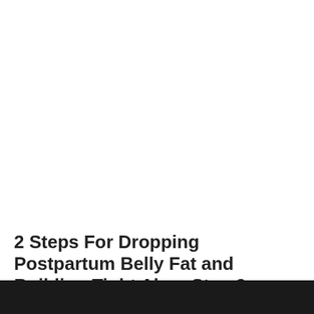2 Steps For Dropping Postpartum Belly Fat and Building Tight Abs : Step 2: Exercise
by female bodybuilders on 9:20 PM in Life style
[Figure (photo): Dark partial image of exercise equipment at the bottom of the page]